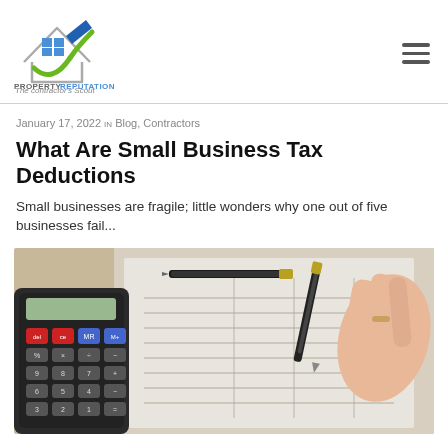[Figure (logo): Property Reputation logo — house outline with blue window panes and green checkmark, text 'PROPERTY REPUTATION The contractor's Scout']
January 17, 2022 in Blog, Contractors
What Are Small Business Tax Deductions
Small businesses are fragile; little wonders why one out of five businesses fail...
[Figure (photo): Close-up photo of a calculator, a pen, and hands writing on financial/tax documents]